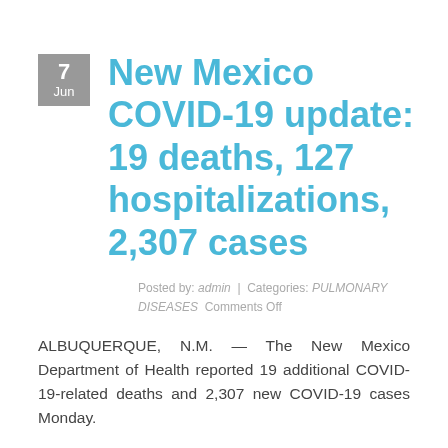New Mexico COVID-19 update: 19 deaths, 127 hospitalizations, 2,307 cases
Posted by: admin  |  Categories: PULMONARY DISEASES  Comments Off
ALBUQUERQUE, N.M. — The New Mexico Department of Health reported 19 additional COVID-19-related deaths and 2,307 new COVID-19 cases Monday.